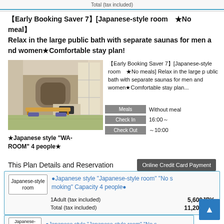Total (tax included)
【Early Booking Saver 7】[Japanese-style room　★No meal】Relax in the large public bath with separate saunas for men and women★Comfortable stay plan!
[Figure (photo): Japanese-style room (WA-ROOM) interior with tatami floor, low wooden table, cushion seats, TV unit and shoji screens]
★Japanese style "WA-ROOM" 4 people★
【Early Booking Saver 7】[Japanese-style room　★No meals] Relax in the large public bath with separate saunas for men and women★Comfortable stay plan...
| Label | Value |
| --- | --- |
| Meals | Without meal |
| Check In | 16:00～ |
| Check Out | ～10:00 |
This Plan Details and Reservation
| Room Type | Description | Price |
| --- | --- | --- |
| Japanese-style room | ●Japanese style "Japanese-style room" "No smoking" Capacity 4 people● |  |
|  | 1Adult (tax included) | 5,600JPY- |
|  | Total (tax included) | 11,200JPY- |
●Japanese style "Japanese-style room" "No s